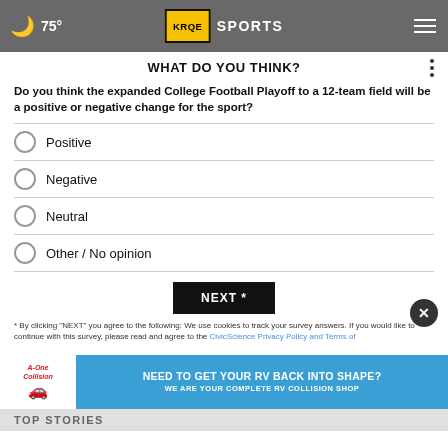🌙 75° KRQE SPORTS
WHAT DO YOU THINK?
Do you think the expanded College Football Playoff to a 12-team field will be a positive or negative change for the sport?
Positive
Negative
Neutral
Other / No opinion
NEXT *
* By clicking "NEXT" you agree to the following: We use cookies to track your survey answers. If you would like to continue with this survey, please read and agree to the CivicScience Privacy Policy and Terms of
[Figure (photo): A-One Collision advertisement banner: 'NEED TO GET YOUR RV BACK INTO SHAPE? WE ARE YOUR COMPLETE RV COLLISION SHOP']
TOP STORIES